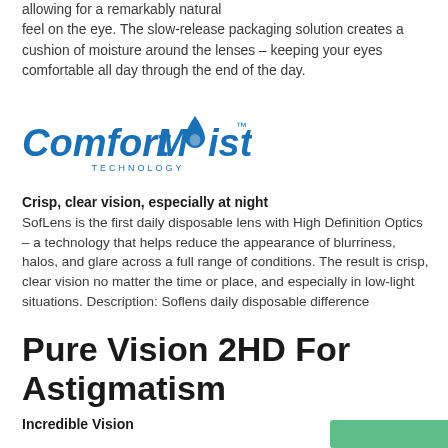allowing for a remarkably natural feel on the eye. The slow-release packaging solution creates a cushion of moisture around the lenses – keeping your eyes comfortable all day through the end of the day.
[Figure (logo): ComfortMoist Technology logo — stylized blue text with a water drop replacing the 'oi' in Moist, with 'TECHNOLOGY' in small caps below]
Crisp, clear vision, especially at night
SofLens is the first daily disposable lens with High Definition Optics – a technology that helps reduce the appearance of blurriness, halos, and glare across a full range of conditions. The result is crisp, clear vision no matter the time or place, and especially in low-light situations. Description: Soflens daily disposable difference
Pure Vision 2HD For Astigmatism
Incredible Vision